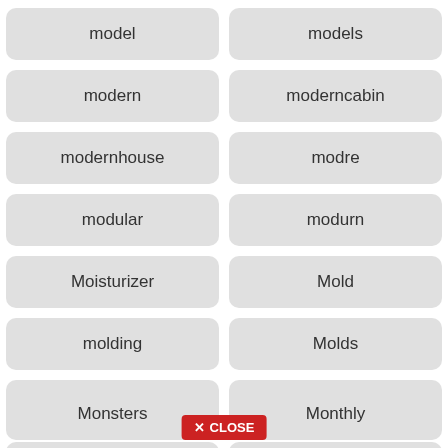model
models
modern
moderncabin
modernhouse
modre
modular
modurn
Moisturizer
Mold
molding
Molds
monarch
moncton
Money
monica
monitor
monroe
Monsters
Monthly